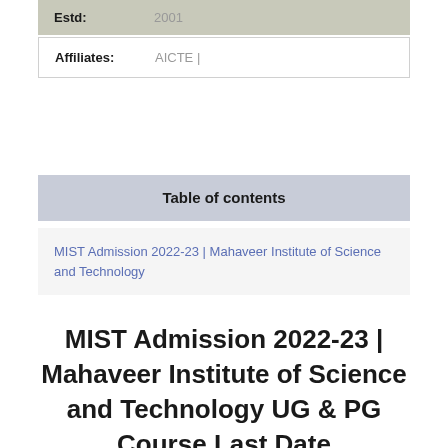| Estd: | 2001 |
| Affiliates: | AICTE | |
Table of contents
MIST Admission 2022-23 | Mahaveer Institute of Science and Technology
MIST Admission 2022-23 | Mahaveer Institute of Science and Technology UG & PG Course Last Date